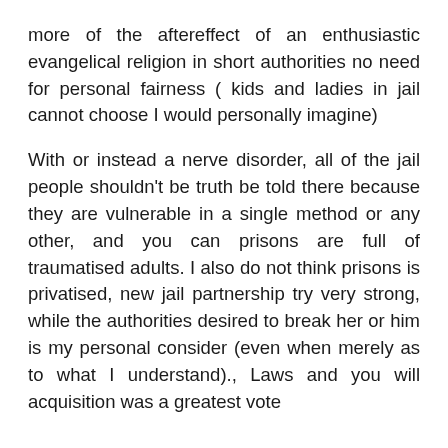more of the aftereffect of an enthusiastic evangelical religion in short authorities no need for personal fairness ( kids and ladies in jail cannot choose I would personally imagine)

With or instead a nerve disorder, all of the jail people shouldn't be truth be told there because they are vulnerable in a single method or any other, and you can prisons are full of traumatised adults. I also do not think prisons is privatised, new jail partnership try very strong, while the authorities desired to break her or him is my personal consider (even when merely as to what I understand)., Laws and you will acquisition was a greatest vote